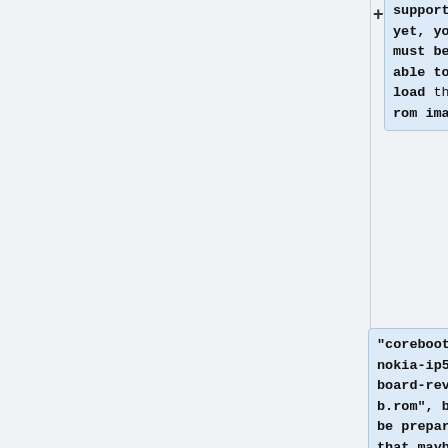supported yet, you must be able to load the rom image
"coreboot-nokia-ip530-board-rev-b.rom", but be prepared that maybe not all hardware is working.
----